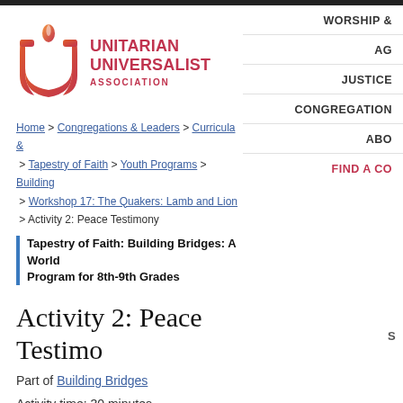[Figure (logo): Unitarian Universalist Association logo with flame symbol in red/orange gradient]
UNITARIAN UNIVERSALIST ASSOCIATION
WORSHIP & | AG | JUSTICE | CONGREGATION | ABO | FIND A CO
Home > Congregations & Leaders > Curricula & > Tapestry of Faith > Youth Programs > Building > Workshop 17: The Quakers: Lamb and Lion > Activity 2: Peace Testimony
Tapestry of Faith: Building Bridges: A World Program for 8th-9th Grades
Activity 2: Peace Testimony
Part of Building Bridges
Activity time: 30 minutes